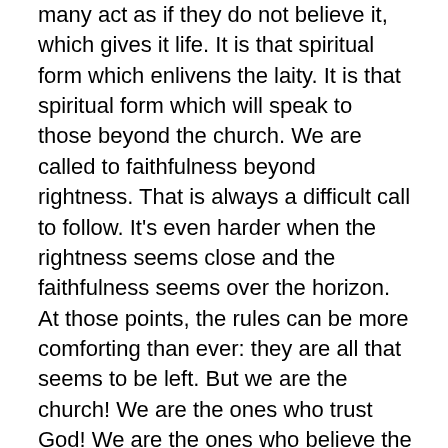many act as if they do not believe it, which gives it life. It is that spiritual form which enlivens the laity. It is that spiritual form which will speak to those beyond the church. We are called to faithfulness beyond rightness. That is always a difficult call to follow. It's even harder when the rightness seems close and the faithfulness seems over the horizon. At those points, the rules can be more comforting than ever: they are all that seems to be left. But we are the church! We are the ones who trust God! We are the ones who believe the resurrection! Let the church dare to wrestle with the times; let it remember that it is called to be faithful, not right.
If worship and especially Eucharistic worship is to be suspended, let those who teach us tell us why and how it can be suspended. Let them tell us what it can mean to us theologically. Some have spoken of fasting from the